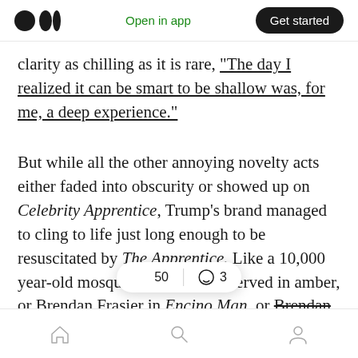Medium logo | Open in app | Get started
clarity as chilling as it is rare, “The day I realized it can be smart to be shallow was, for me, a deep experience.”
But while all the other annoying novelty acts either faded into obscurity or showed up on Celebrity Apprentice, Trump’s brand managed to cling to life just long enough to be resuscitated by The Apprentice. Like a 10,000 year-old mosquito perfectly preserved in amber, or Brendan Frasier in Encino Man, or Brendan Frasier in Blast From The Past, Trump ... dimensional
Home | Search | Profile